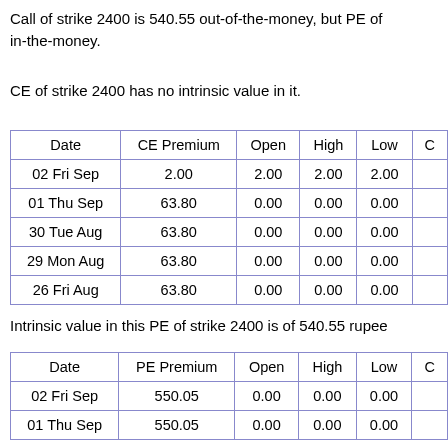Call of strike 2400 is 540.55 out-of-the-money, but PE of in-the-money.
CE of strike 2400 has no intrinsic value in it.
| Date | CE Premium | Open | High | Low | C |
| --- | --- | --- | --- | --- | --- |
| 02 Fri Sep | 2.00 | 2.00 | 2.00 | 2.00 |  |
| 01 Thu Sep | 63.80 | 0.00 | 0.00 | 0.00 |  |
| 30 Tue Aug | 63.80 | 0.00 | 0.00 | 0.00 |  |
| 29 Mon Aug | 63.80 | 0.00 | 0.00 | 0.00 |  |
| 26 Fri Aug | 63.80 | 0.00 | 0.00 | 0.00 |  |
Intrinsic value in this PE of strike 2400 is of 540.55 rupee
| Date | PE Premium | Open | High | Low | C |
| --- | --- | --- | --- | --- | --- |
| 02 Fri Sep | 550.05 | 0.00 | 0.00 | 0.00 |  |
| 01 Thu Sep | 550.05 | 0.00 | 0.00 | 0.00 |  |